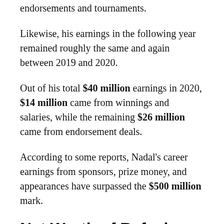endorsements and tournaments.
Likewise, his earnings in the following year remained roughly the same and again between 2019 and 2020.
Out of his total $40 million earnings in 2020, $14 million came from winnings and salaries, while the remaining $26 million came from endorsement deals.
According to some reports, Nadal's career earnings from sponsors, prize money, and appearances have surpassed the $500 million mark.
Net Worth of Rafael Nadal in Different Currencies